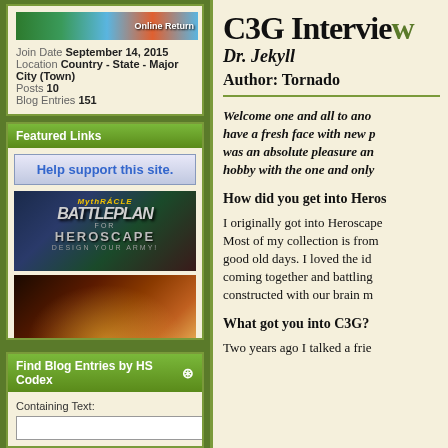Join Date September 14, 2015
Location Country - State - Major City (Town)
Posts 10
Blog Entries 151
Featured Links
[Figure (illustration): Help support this site button]
[Figure (illustration): Mythragle Battleplan for Heroscape Design Your Army advertisement]
[Figure (illustration): Fantasy warrior character with lightning, comic book art style]
Find Blog Entries by HS Codex
Containing Text:
Search Titles Only
C3G Intervie...
Dr. Jekyll
Author: Tornado
Welcome one and all to ano... have a fresh face with new p... was an absolute pleasure an... hobby with the one and only...
How did you get into Heros...
I originally got into Heroscape... Most of my collection is from... good old days. I loved the id... coming together and battling... constructed with our brain m...
What got you into C3G?
Two years ago I talked a frie...